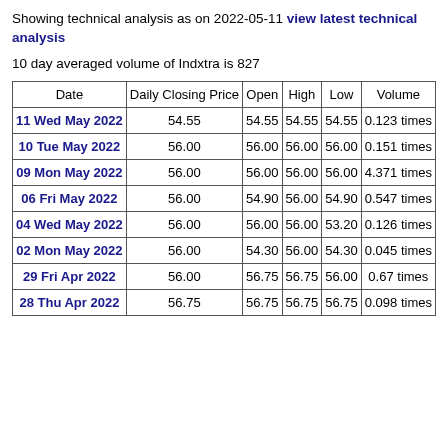Showing technical analysis as on 2022-05-11 view latest technical analysis
10 day averaged volume of Indxtra is 827
| Date | Daily Closing Price | Open | High | Low | Volume |
| --- | --- | --- | --- | --- | --- |
| 11 Wed May 2022 | 54.55 | 54.55 | 54.55 | 54.55 | 0.123 times |
| 10 Tue May 2022 | 56.00 | 56.00 | 56.00 | 56.00 | 0.151 times |
| 09 Mon May 2022 | 56.00 | 56.00 | 56.00 | 56.00 | 4.371 times |
| 06 Fri May 2022 | 56.00 | 54.90 | 56.00 | 54.90 | 0.547 times |
| 04 Wed May 2022 | 56.00 | 56.00 | 56.00 | 53.20 | 0.126 times |
| 02 Mon May 2022 | 56.00 | 54.30 | 56.00 | 54.30 | 0.045 times |
| 29 Fri Apr 2022 | 56.00 | 56.75 | 56.75 | 56.00 | 0.67 times |
| 28 Thu Apr 2022 | 56.75 | 56.75 | 56.75 | 56.75 | 0.098 times |